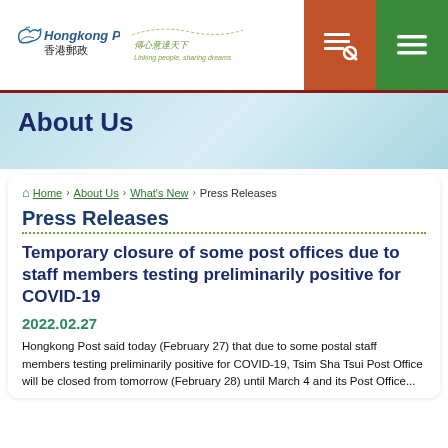[Figure (logo): Hongkong Post logo with bird icon and Chinese text 香港郵政, alongside a decorative slogan]
Hongkong Post 香港郵政 — header with navigation icons
About Us
Home › About Us › What's New › Press Releases
Press Releases
Temporary closure of some post offices due to staff members testing preliminarily positive for COVID-19
2022.02.27
Hongkong Post said today (February 27) that due to some postal staff members testing preliminarily positive for COVID-19, Tsim Sha Tsui Post Office will be closed from tomorrow (February 28) until March 4 and its Post Office...